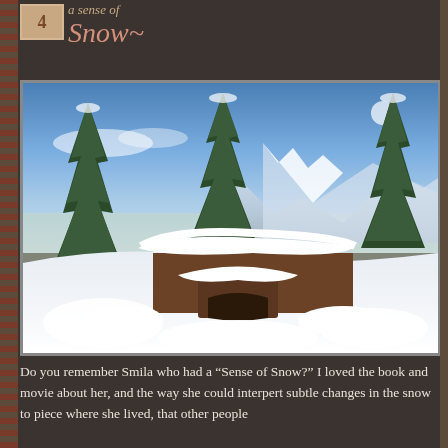Snow~
[Figure (photo): Winter snow scene showing a snow-covered wooden structure (doghouse or small shelter) in the foreground, with pine trees and snow-covered mountains visible in the background under a blue sky.]
Do you remember Smila who had a “Sense of Snow?” I loved the book and movie about her, and the way she could interpert subtle changes in the snow to piece where she lived, that other people couldn’t see.